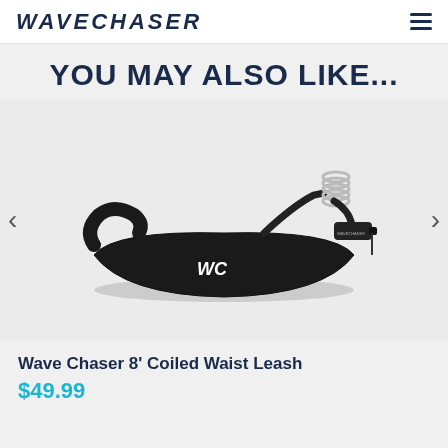WAVECHASER
YOU MAY ALSO LIKE...
[Figure (photo): A black Wave Chaser 8' coiled waist leash with a coiled cable and WC logo on the padded belt, displayed on a light grey background. Carousel navigation arrows visible on left and right.]
Wave Chaser 8' Coiled Waist Leash
$49.99